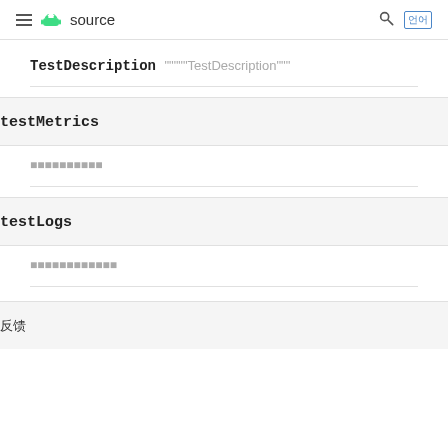≡ android source  🔍  언어
TestDescription 如何使用TestDescription接口
testMetrics
日志记录测试指标
testLogs
日志记录测试日志信息
反馈